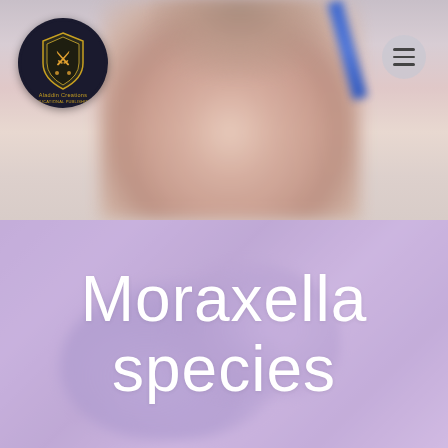[Figure (photo): Top section showing a blurred child's face looking down, with a blue pen/pencil visible at top right. Light gray/lavender background. Aladdin Creations logo (shield emblem on dark circle) in top left. Hamburger menu icon (three lines on gray circle) in top right.]
Moraxella species
[Figure (photo): Bottom section showing a lab technician's gloved hands working with laboratory equipment, overlaid with a purple/lavender tint. Semi-transparent purple overlay covers the image.]